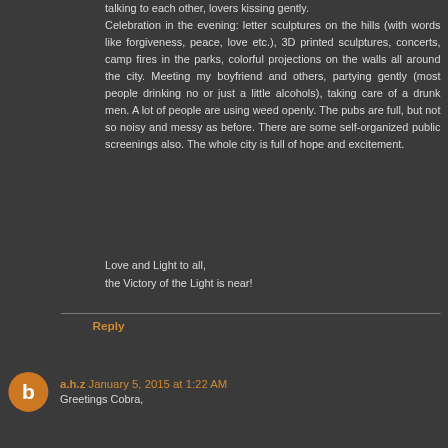talking to each other, lovers kissing gently. Celebration in the evening: letter sculptures on the hills (with words like forgiveness, peace, love etc.), 3D printed sculptures, concerts, camp fires in the parks, colorful projections on the walls all around the city. Meeting my boyfriend and others, partying gently (most people drinking no or just a little alcohols), taking care of a drunk men. A lot of people are using weed openly. The pubs are full, but not so noisy and messy as before. There are some self-organized public screenings also. The whole city is full of hope and excitement.
Love and Light to all,
the Victory of the Light is near!
Reply
a.h.z January 5, 2015 at 1:22 AM
Greetings Cobra,